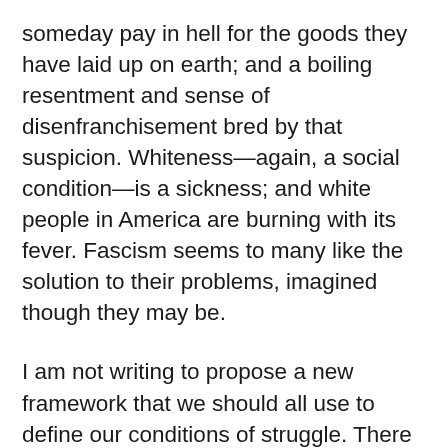someday pay in hell for the goods they have laid up on earth; and a boiling resentment and sense of disenfranchisement bred by that suspicion. Whiteness—again, a social condition—is a sickness; and white people in America are burning with its fever. Fascism seems to many like the solution to their problems, imagined though they may be.
I am not writing to propose a new framework that we should all use to define our conditions of struggle. There are endless history books describing life before and under fascism, and we ought to all familiarize ourselves with them, and form our own judgments. Rather, I propose that we reject the mystification of endlessly re-categorizing our enemies. Fascists and anarchists are historic enemies, and we can learn lessons from our